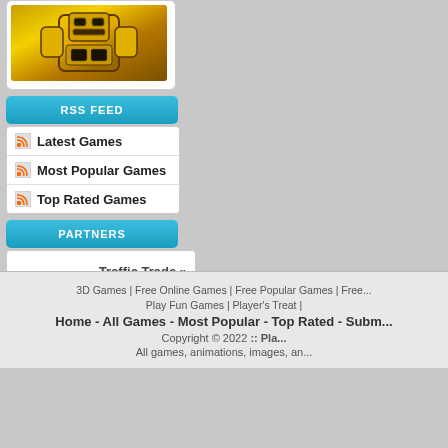[Figure (illustration): Game thumbnail showing a golden/yellow armored character or robot figure]
RSS FEED
Latest Games
Most Popular Games
Top Rated Games
PARTNERS
Traffic Trade »
Traffic Stats »
3D Games | Free Online Games | Free Popular Games | Free...
Play Fun Games | Player's Treat |
Home - All Games - Most Popular - Top Rated - Subm...
Copyright © 2022 :: Pla...
All games, animations, images, an...